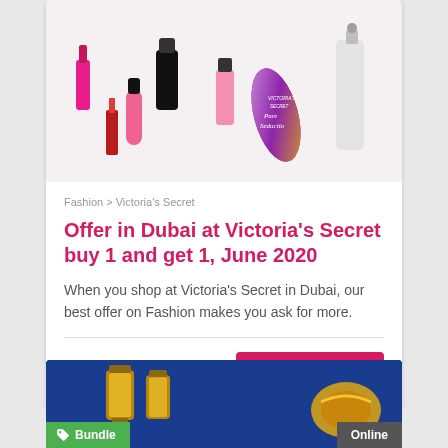[Figure (photo): Victoria's Secret beauty products including lotions, perfume bottles, and nail polish on a white background]
Fashion > Victoria's Secret
Offer in Dubai at Victoria's Secret buy 1 and get 1, June 2020
When you shop at Victoria's Secret in Dubai, our best offer on Fashion makes you ask for more.
Expired
VIEW DETAILS
[Figure (photo): Bottom card partially visible showing a blue background with lanterns and Bundle/Online tags]